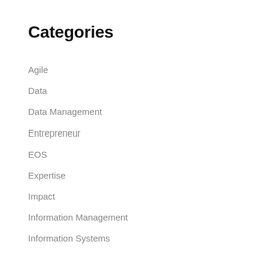Categories
Agile
Data
Data Management
Entrepreneur
EOS
Expertise
Impact
Information Management
Information Systems
Leadership
Measuring
Mission
Nonprofit